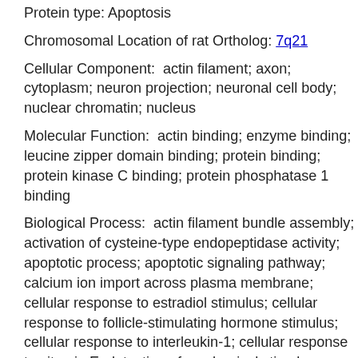Protein type: Apoptosis
Chromosomal Location of rat Ortholog: 7q21
Cellular Component:  actin filament; axon; cytoplasm; neuron projection; neuronal cell body; nuclear chromatin; nucleus
Molecular Function:  actin binding; enzyme binding; leucine zipper domain binding; protein binding; protein kinase C binding; protein phosphatase 1 binding
Biological Process:  actin filament bundle assembly; activation of cysteine-type endopeptidase activity; apoptotic process; apoptotic signaling pathway; calcium ion import across plasma membrane; cellular response to estradiol stimulus; cellular response to follicle-stimulating hormone stimulus; cellular response to interleukin-1; cellular response to vitamin E; detection of mechanical stimulus involved in sensory perception of pain; detection of temperature stimulus involved in sensory perception of pain; interleukin-2 biosynthetic process; negative regulation of B cell proliferation; negative regulation of calcium ion import;